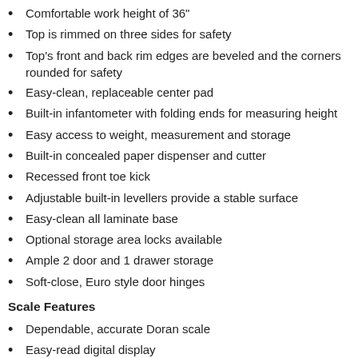Comfortable work height of 36"
Top is rimmed on three sides for safety
Top's front and back rim edges are beveled and the corners rounded for safety
Easy-clean, replaceable center pad
Built-in infantometer with folding ends for measuring height
Easy access to weight, measurement and storage
Built-in concealed paper dispenser and cutter
Recessed front toe kick
Adjustable built-in levellers provide a stable surface
Easy-clean all laminate base
Optional storage area locks available
Ample 2 door and 1 drawer storage
Soft-close, Euro style door hinges
Scale Features
Dependable, accurate Doran scale
Easy-read digital display
Auto calibration on start-up